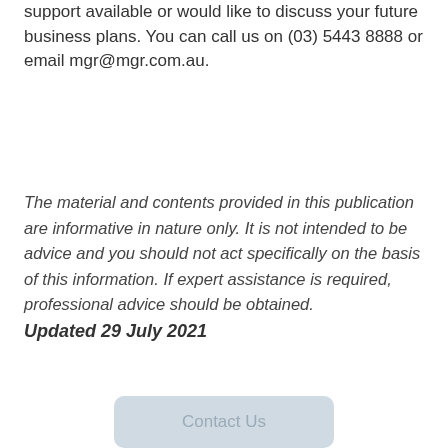support available or would like to discuss your future business plans. You can call us on (03) 5443 8888 or email mgr@mgr.com.au.
The material and contents provided in this publication are informative in nature only. It is not intended to be advice and you should not act specifically on the basis of this information. If expert assistance is required, professional advice should be obtained.
Updated 29 July 2021
Contact Us